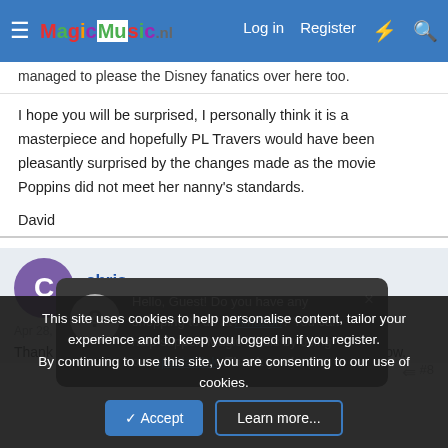MagicMusic.nl — Log in | Register
managed to please the Disney fanatics over here too.
I hope you will be surprised, I personally think it is a masterpiece and hopefully PL Travers would have been pleasantly surprised by the changes made as the movie Poppins did not meet her nanny's standards.
David
chris
Member
Apr 28, 2005
Hello, Guest! Do you have any shopping to do at Amazon? You can help support Magic Music by using our special link. Thank you!
Thank you all for sharing your thoughts on the new stage show.
This site uses cookies to help personalise content, tailor your experience and to keep you logged in if you register.
By continuing to use this site, you are consenting to our use of cookies.
Accept   Learn more...